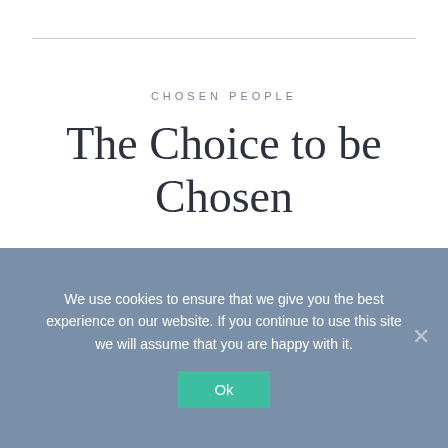CHOSEN PEOPLE
The Choice to be Chosen
POSTED ON NOVEMBER 4, 2007
[Figure (illustration): Magazine banner image for 'The Chosen People' with yellow floral background and red bold serif text]
We use cookies to ensure that we give you the best experience on our website. If you continue to use this site we will assume that you are happy with it.